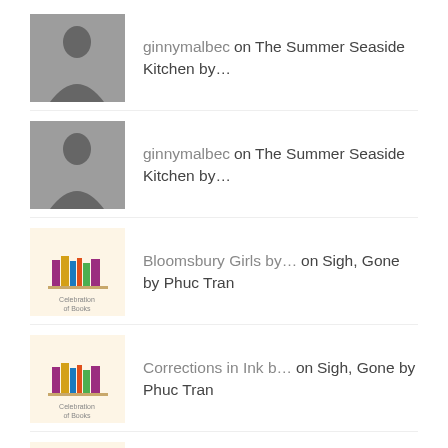ginnymalbec on The Summer Seaside Kitchen by…
ginnymalbec on The Summer Seaside Kitchen by…
Bloomsbury Girls by… on Sigh, Gone by Phuc Tran
Corrections in Ink b… on Sigh, Gone by Phuc Tran
Corrections in Ink b… on It's What I Do by Lynsey…
- Instagram -
[Figure (photo): Photo of a colorful book with yellow cover and red bow, on dark blurry background]
[Figure (photo): Black and white photo of a dog or cat near bookshelves]